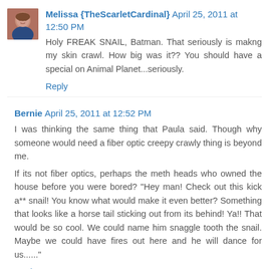Melissa {TheScarletCardinal} April 25, 2011 at 12:50 PM
Holy FREAK SNAIL, Batman. That seriously is makng my skin crawl. How big was it?? You should have a special on Animal Planet...seriously.
Reply
Bernie April 25, 2011 at 12:52 PM
I was thinking the same thing that Paula said. Though why someone would need a fiber optic creepy crawly thing is beyond me.
If its not fiber optics, perhaps the meth heads who owned the house before you were bored? "Hey man! Check out this kick a** snail! You know what would make it even better? Something that looks like a horse tail sticking out from its behind! Ya!! That would be so cool. We could name him snaggle tooth the snail. Maybe we could have fires out here and he will dance for us......"
Reply